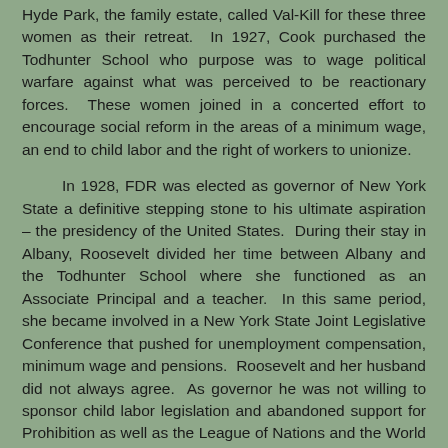Hyde Park, the family estate, called Val-Kill for these three women as their retreat. In 1927, Cook purchased the Todhunter School who purpose was to wage political warfare against what was perceived to be reactionary forces. These women joined in a concerted effort to encourage social reform in the areas of a minimum wage, an end to child labor and the right of workers to unionize.
In 1928, FDR was elected as governor of New York State a definitive stepping stone to his ultimate aspiration – the presidency of the United States. During their stay in Albany, Roosevelt divided her time between Albany and the Todhunter School where she functioned as an Associate Principal and a teacher. In this same period, she became involved in a New York State Joint Legislative Conference that pushed for unemployment compensation, minimum wage and pensions. Roosevelt and her husband did not always agree. As governor he was not willing to sponsor child labor legislation and abandoned support for Prohibition as well as the League of Nations and the World Court – causes that Roosevelt adamantly supported. As a matter of fact, FDR's brain trust considered his wife to be too idealistic